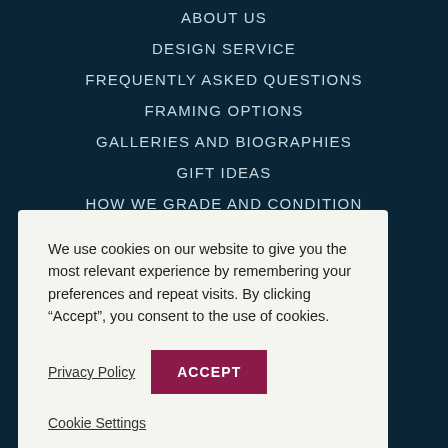ABOUT US
DESIGN SERVICE
FREQUENTLY ASKED QUESTIONS
FRAMING OPTIONS
GALLERIES AND BIOGRAPHIES
GIFT IDEAS
HOW WE GRADE AND CONDITION
LINEN BACKING
We use cookies on our website to give you the most relevant experience by remembering your preferences and repeat visits. By clicking “Accept”, you consent to the use of cookies.
Privacy Policy
ACCEPT
Cookie Settings